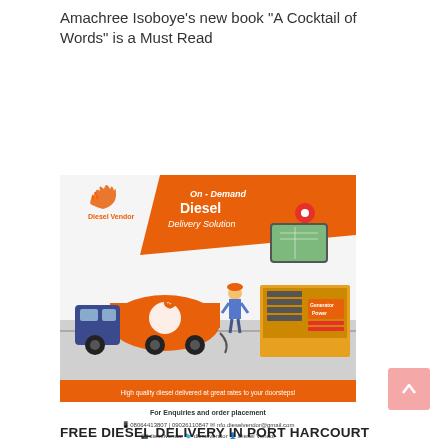Amachree Isoboye's new book "A Cocktail of Words" is a Must Read
[Figure (infographic): Diesel Vendor advertisement banner. Shows a diesel tanker truck with orange tank labeled with Diesel Vendor logo, a worker figure, and a generator. Text reads: 'On-Demand Diesel Delivery Solution', 'High quality diesel delivered at great rates to your doorsteps!', 'For Enquiries and order placement', phone numbers 08064413807 | 09026110847, email nfo.dieselvendor@gmail.com, social handles @dieselvendor. Orange banner strip at bottom. Logo at top left with flame icon.]
FREE DIESEL DELIVERY IN PORT HARCOURT